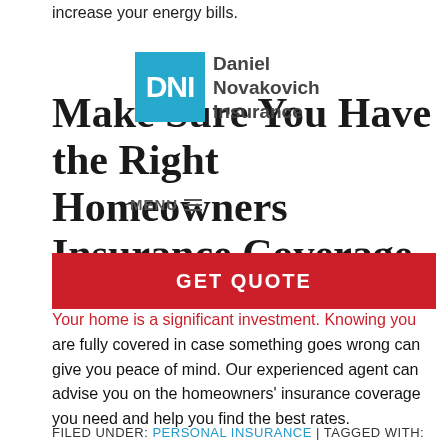increase your energy bills.
[Figure (logo): DNI logo – blue square with white 'DNI' letters, next to 'Daniel Novakovich Insurance' text]
Make Sure You Have the Right Homeowners Insurance Coverage
MENU
[Figure (other): Red GET QUOTE button banner]
Your home is a significant investment. Knowing you are fully covered in case something goes wrong can give you peace of mind. Our experienced agent can advise you on the homeowners' insurance coverage you need and help you find the best rates.
FILED UNDER: PERSONAL INSURANCE | TAGGED WITH: